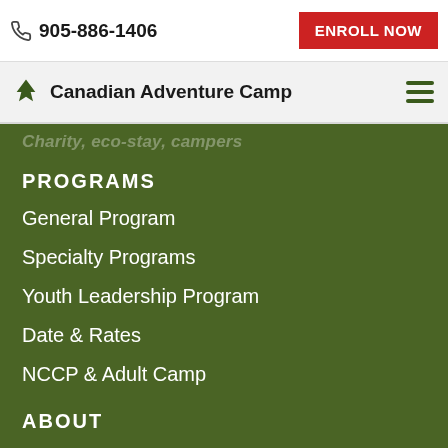905-886-1406 | ENROLL NOW
Canadian Adventure Camp
Charity, eco-stay, campers
PROGRAMS
General Program
Specialty Programs
Youth Leadership Program
Date & Rates
NCCP & Adult Camp
ABOUT
Join Our Team